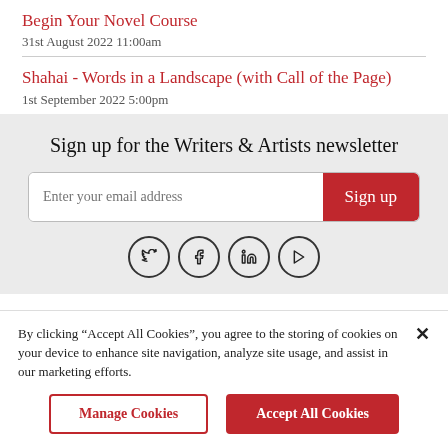Begin Your Novel Course
31st August 2022 11:00am
Shahai - Words in a Landscape (with Call of the Page)
1st September 2022 5:00pm
Sign up for the Writers & Artists newsletter
Enter your email address
Sign up
[Figure (other): Social media icons: Twitter, Facebook, LinkedIn, YouTube]
By clicking “Accept All Cookies”, you agree to the storing of cookies on your device to enhance site navigation, analyze site usage, and assist in our marketing efforts.
Manage Cookies
Accept All Cookies